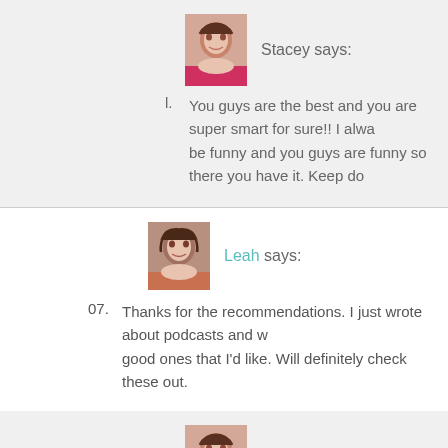[Figure (photo): Avatar photo of Stacey, woman with dark hair]
Stacey says:
You guys are the best and you are super smart for sure!! I always be funny and you guys are funny so there you have it. Keep do
[Figure (photo): Avatar photo of Leah, woman with dark hair]
Leah says:
07. Thanks for the recommendations. I just wrote about podcasts and w good ones that I'd like. Will definitely check these out.
[Figure (photo): Avatar photo of Stacey, woman with dark hair]
Stacey says:
l. Based on our overlapping tastes, I think you will find some to li